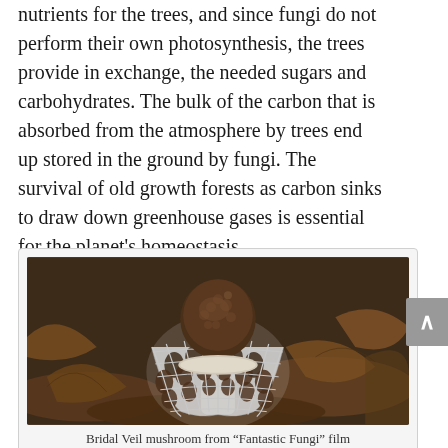nutrients for the trees, and since fungi do not perform their own photosynthesis, the trees provide in exchange, the needed sugars and carbohydrates. The bulk of the carbon that is absorbed from the atmosphere by trees end up stored in the ground by fungi. The survival of old growth forests as carbon sinks to draw down greenhouse gases is essential for the planet's homeostasis.
[Figure (photo): Close-up photograph of a Bridal Veil mushroom (Phallus indusiatus) with a distinctive white lacy net-like skirt structure and dark brown cap, surrounded by dead leaves on forest floor. From the 'Fantastic Fungi' film.]
Bridal Veil mushroom from "Fantastic Fungi" film